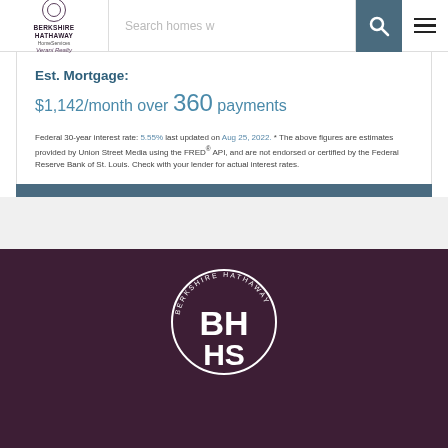[Figure (logo): Berkshire Hathaway HomeServices Verani Realty logo with circular emblem]
Search homes w
Est. Mortgage:
$1,142/month over 360 payments
Federal 30-year interest rate: 5.55% last updated on Aug 25, 2022. * The above figures are estimates provided by Union Street Media using the FRED® API, and are not endorsed or certified by the Federal Reserve Bank of St. Louis. Check with your lender for actual interest rates.
[Figure (logo): Berkshire Hathaway HomeServices circular logo in white on dark maroon background footer]